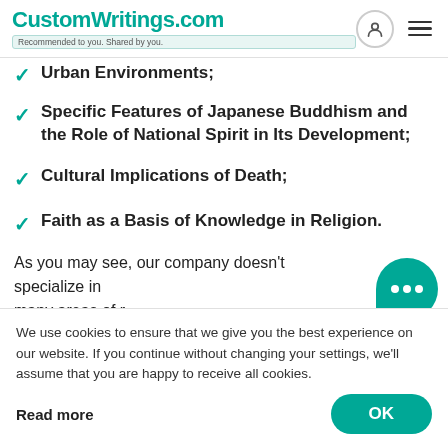CustomWritings.com — Recommended to you. Shared by you.
Urban Environments;
Specific Features of Japanese Buddhism and the Role of National Spirit in Its Development;
Cultural Implications of Death;
Faith as a Basis of Knowledge in Religion.
As you may see, our company doesn't specialize in many areas of r... we have specia... from world relig... kind of help you... we've been gath... decade and toc... religion homewc...
We use cookies to ensure that we give you the best experience on our website. If you continue without changing your settings, we'll assume that you are happy to receive all cookies.

Read more
OK